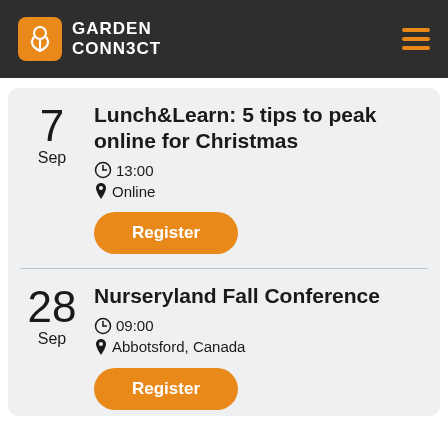GARDEN CONNECT
Lunch&Learn: 5 tips to peak online for Christmas
7 Sep | 13:00 | Online
Register
Nurseryland Fall Conference
28 Sep | 09:00 | Abbotsford, Canada
Register